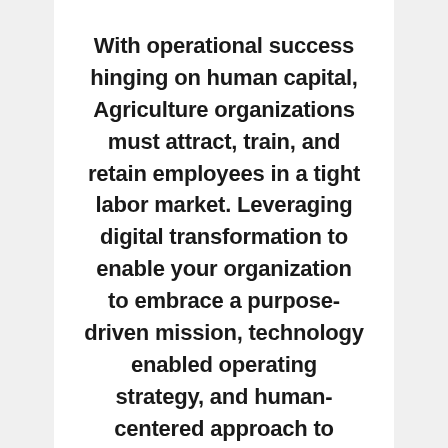With operational success hinging on human capital, Agriculture organizations must attract, train, and retain employees in a tight labor market. Leveraging digital transformation to enable your organization to embrace a purpose-driven mission, technology enabled operating strategy, and human-centered approach to employee experience will lead to mission success.